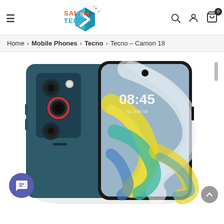SalamTec — navigation header with logo, search, user, and cart icons
Home > Mobile Phones > Tecno > Tecno – Camon 18
[Figure (photo): Product photo of Tecno Camon 18 smartphone shown from the back and front. The back shows a teal/dark blue finish with a triple camera module with red-rimmed lenses. The front screen displays a colorful wave wallpaper with the time 08:45 and date Su, Feb 06.]